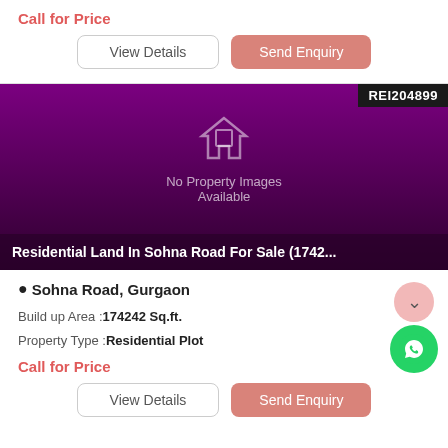Call for Price
View Details | Send Enquiry
[Figure (other): Property listing image placeholder with purple background, house icon, 'No Property Images Available' text, REI204899 badge, and property title overlay 'Residential Land In Sohna Road For Sale (1742...']
Sohna Road, Gurgaon
Build up Area :174242 Sq.ft.
Property Type :Residential Plot
Call for Price
View Details | Send Enquiry